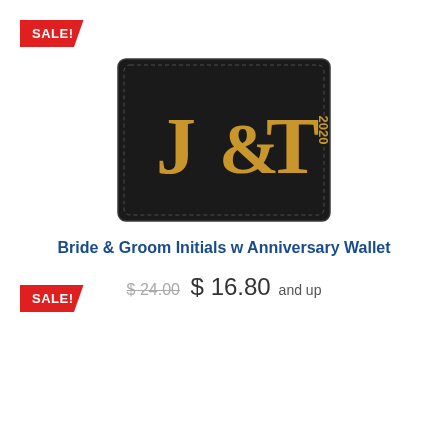[Figure (photo): Sale badge ribbon in red with white text SALE! in top left corner]
[Figure (photo): Black bifold leather wallet with gold monogram J&T 2020 engraved on the front]
Bride & Groom Initials w Anniversary Wallet
$24.00 $16.80 and up
[Figure (photo): Sale badge ribbon in red with white text SALE! in lower left area]